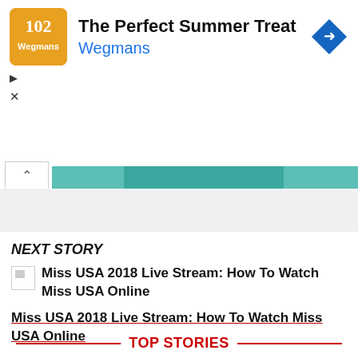[Figure (screenshot): Advertisement banner for Wegmans: orange logo on left, text 'The Perfect Summer Treat' and 'Wegmans' in blue, navigation icon on right.]
NEXT STORY
[Figure (photo): Broken/missing image thumbnail for the next story article]
Miss USA 2018 Live Stream: How To Watch Miss USA Online
Miss USA 2018 Live Stream: How To Watch Miss USA Online
TOP STORIES